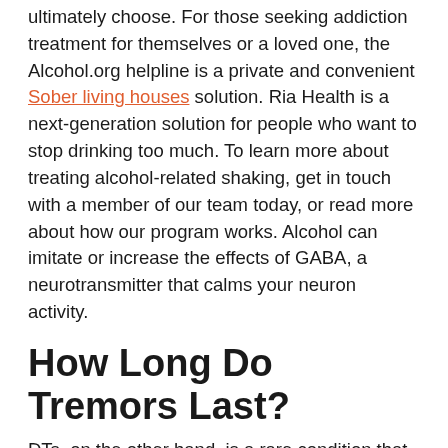ultimately choose. For those seeking addiction treatment for themselves or a loved one, the Alcohol.org helpline is a private and convenient Sober living houses solution. Ria Health is a next-generation solution for people who want to stop drinking too much. To learn more about treating alcohol-related shaking, get in touch with a member of our team today, or read more about how our program works. Alcohol can imitate or increase the effects of GABA, a neurotransmitter that calms your neuron activity.
How Long Do Tremors Last?
DTs, on the other hand, is a rare condition that occurs in only about 10 percent of alcohol abuse cases. Over time, heavy alcohol consumption causes problems within the brain. When someone drinks a lot and then stops drinking, the body must adjust. This triggers hyperactivity in the brain and nervous system, leading to shaking. Depending on how severe the shakes are, what helps with the hangover and